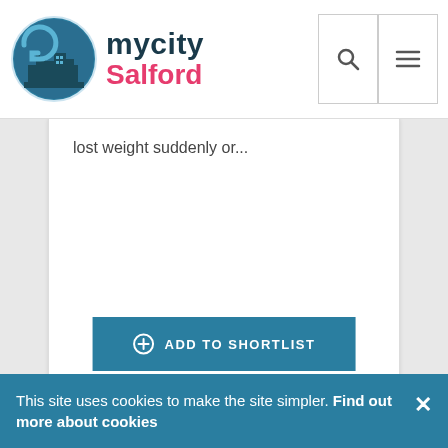[Figure (logo): mycity Salford logo with circular teal city skyline icon and text 'mycity Salford']
lost weight suddenly or...
ADD TO SHORTLIST
This site uses cookies to make the site simpler. Find out more about cookies